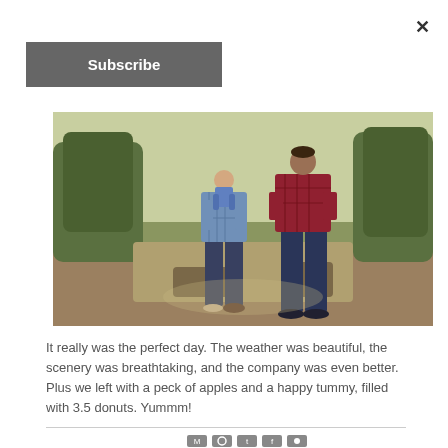×
Subscribe
[Figure (photo): Outdoor photo of two people standing on grass in an orchard or garden setting, one holding a child. They are wearing casual clothes — plaid shirts and jeans. Trees are visible in the background.]
It really was the perfect day. The weather was beautiful, the scenery was breathtaking, and the company was even better. Plus we left with a peck of apples and a happy tummy, filled with 3.5 donuts. Yummm!